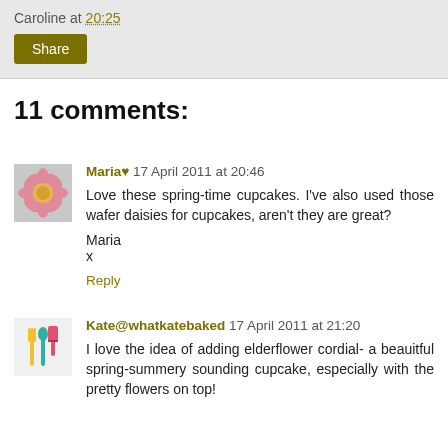Caroline at 20:25
Share
11 comments:
Maria♥  17 April 2011 at 20:46
Love these spring-time cupcakes. I've also used those wafer daisies for cupcakes, aren't they are great?

Maria
x
Reply
Kate@whatkatebaked  17 April 2011 at 21:20
I love the idea of adding elderflower cordial- a beauitful spring-summery sounding cupcake, especially with the pretty flowers on top!